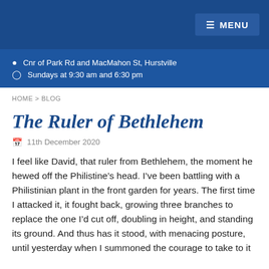MENU
Cnr of Park Rd and MacMahon St, Hurstville
Sundays at 9:30 am and 6:30 pm
HOME > BLOG
The Ruler of Bethlehem
11th December 2020
I feel like David, that ruler from Bethlehem, the moment he hewed off the Philistine’s head. I’ve been battling with a Philistinian plant in the front garden for years. The first time I attacked it, it fought back, growing three branches to replace the one I’d cut off, doubling in height, and standing its ground. And thus has it stood, with menacing posture, until yesterday when I summoned the courage to take to it